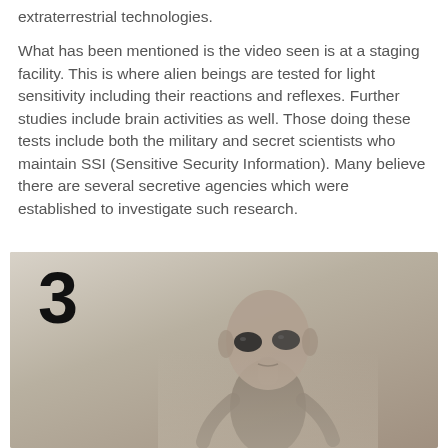extraterrestrial technologies.
What has been mentioned is the video seen is at a staging facility. This is where alien beings are tested for light sensitivity including their reactions and reflexes. Further studies include brain activities as well. Those doing these tests include both the military and secret scientists who maintain SSI (Sensitive Security Information). Many believe there are several secretive agencies which were established to investigate such research.
[Figure (photo): A black and white / sepia-toned blurry photograph showing a humanoid alien figure with a large round head and large dark eyes, appearing to stand in a facility. A large number '3' is visible in the upper left of the image.]